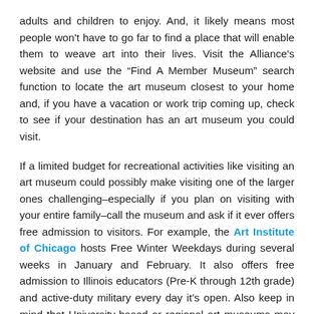adults and children to enjoy. And, it likely means most people won't have to go far to find a place that will enable them to weave art into their lives. Visit the Alliance's website and use the “Find A Member Museum” search function to locate the art museum closest to your home and, if you have a vacation or work trip coming up, check to see if your destination has an art museum you could visit.
If a limited budget for recreational activities like visiting an art museum could possibly make visiting one of the larger ones challenging–especially if you plan on visiting with your entire family–call the museum and ask if it ever offers free admission to visitors. For example, the Art Institute of Chicago hosts Free Winter Weekdays during several weeks in January and February. It also offers free admission to Illinois educators (Pre-K through 12th grade) and active-duty military every day it’s open. Also keep in mind that University-based or regional art museums may have free admission every day. In addition, families enrolled in a